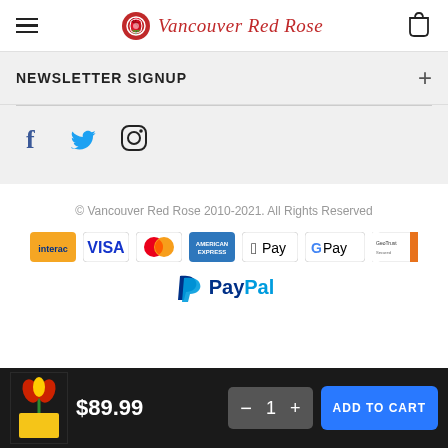Vancouver Red Rose
NEWSLETTER SIGNUP
[Figure (other): Social media icons: Facebook, Twitter, Instagram]
© Vancouver Red Rose 2010-2021. All Rights Reserved
[Figure (other): Payment method logos: Interac, VISA, Mastercard, American Express, Apple Pay, Google Pay, GeoTrust, PayPal]
$89.99
1
ADD TO CART